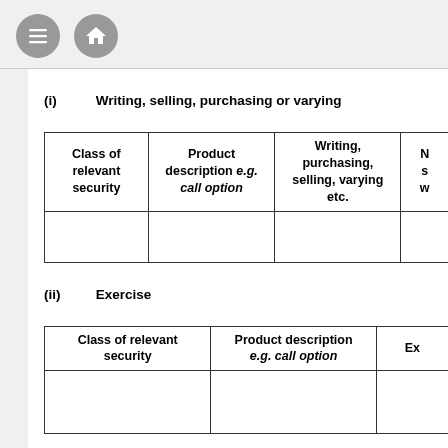[Figure (other): Navigation icons: hamburger menu icon and home icon in grey circles]
(i)   Writing, selling, purchasing or varying
| Class of relevant security | Product description e.g. call option | Writing, purchasing, selling, varying etc. | [truncated column] |
| --- | --- | --- | --- |
|  |  |  |  |
(ii)   Exercise
| Class of relevant security | Product description e.g. call option | Ex[truncated] |
| --- | --- | --- |
|  |  |  |
(d)   Other dealings (including subscribing for new securiti[es]